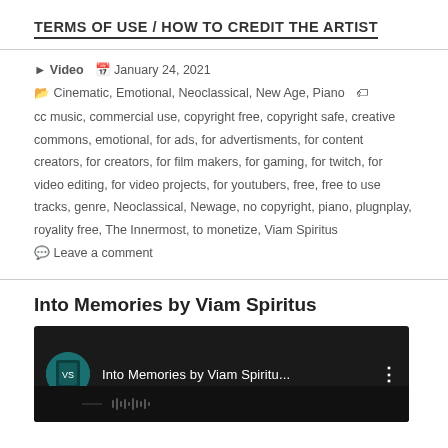TERMS OF USE / HOW TO CREDIT THE ARTIST
▶ Video  🗓 January 24, 2021  🗂 Cinematic, Emotional, Neoclassical, New Age, Piano  🏷 cc music, commercial use, copyright free, copyright safe, creative commons, emotional, for ads, for advertisments, for content creators, for creators, for film makers, for gaming, for twitch, for video editing, for video projects, for youtubers, free, free to use tracks, genre, Neoclassical, Newage, no copyright, piano, plugnplay, royality free, The Innermost, to monetize, Viam Spiritus
💬 Leave a comment
Into Memories by Viam Spiritus
[Figure (screenshot): YouTube video thumbnail showing 'Into Memories by Viam Spiritu...' with channel avatar and three-dot menu icon on dark background]